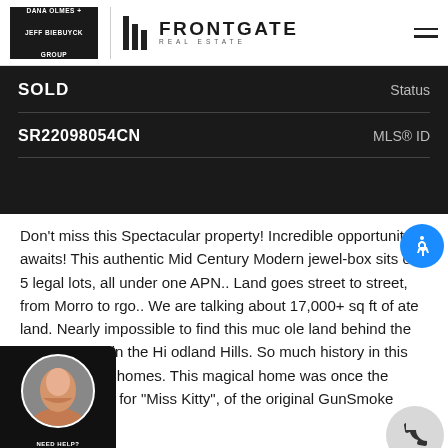DANA OLMES + JEFF BIEBUYCK GROUP | FRONTGATE REAL ESTATE
| Field | Value |
| --- | --- |
| SOLD | Status |
| SR22098054CN | MLS® ID |
Don't miss this Spectacular property! Incredible opportunity awaits! This authentic Mid Century Modern jewel-box sits on 5 legal lots, all under one APN.. Land goes street to street, from Morro to rgo.. We are talking about 17,000+ sq ft of ate land. Nearly impossible to find this much ole land behind the Country Club in the Hi odland Hills. So much history in this area of Girard homes. This magical home was once the summer lodge for "Miss Kitty", of the original GunSmoke radio